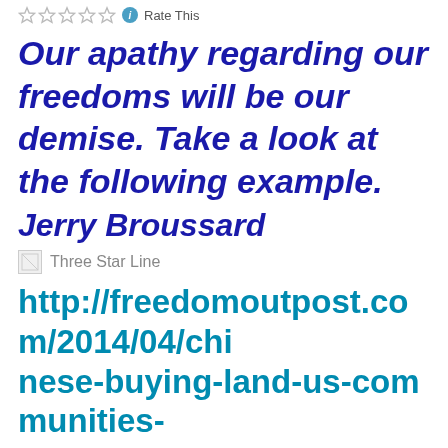Rate This
Our apathy regarding our freedoms will be our demise. Take a look at the following example.
Jerry Broussard
[Figure (other): Broken image thumbnail next to text 'Three Star Line']
http://freedomoutpost.com/2014/04/chinese-buying-land-us-communities-